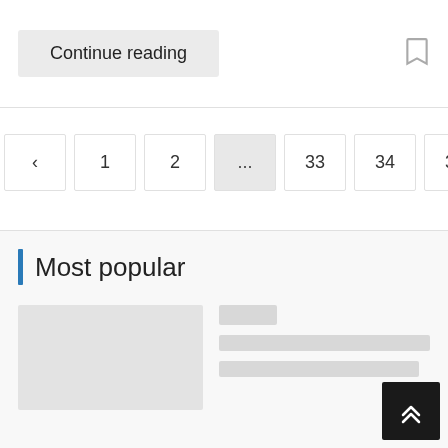Continue reading
[Figure (other): Bookmark icon (outline bookmark symbol)]
‹  1  2  ...  33  34  35  [active page button cut off]
Most popular
[Figure (other): Placeholder image thumbnail (light gray rectangle)]
[Figure (other): Placeholder content lines (tag placeholder, two text line placeholders)]
[Figure (other): Scroll to top button (dark square with double upward chevron)]